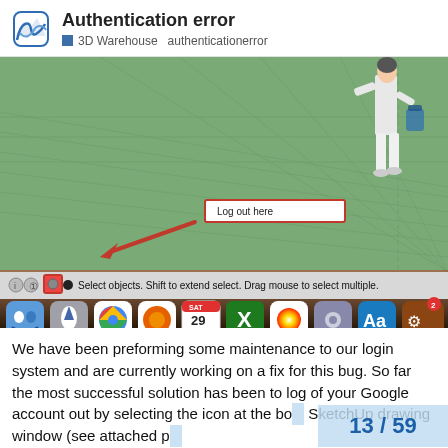Authentication error — 3D Warehouse  authenticationerror
[Figure (screenshot): Screenshot of SketchUp 3D modeling software showing a green 3D viewport with a human figure in the upper right, a 'Log out here' tooltip box near the bottom toolbar, a red arrow pointing down to a highlighted icon in the status bar, and the macOS dock at the bottom with various app icons.]
We have been preforming some maintenance to our login system and are currently working on a fix for this bug. So far the most successful solution has been to log of your Google account out by selecting the icon at the bo SketchUp drawing window (see attached p
13 / 59